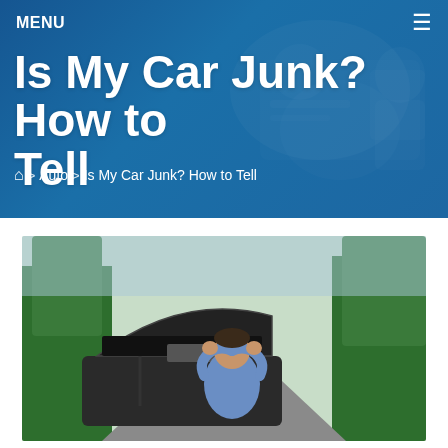MENU
Is My Car Junk? How to Tell
🏠 > Auto > Is My Car Junk? How to Tell
[Figure (photo): Man standing with hands on head in frustration in front of a car with hood open on a road surrounded by trees]